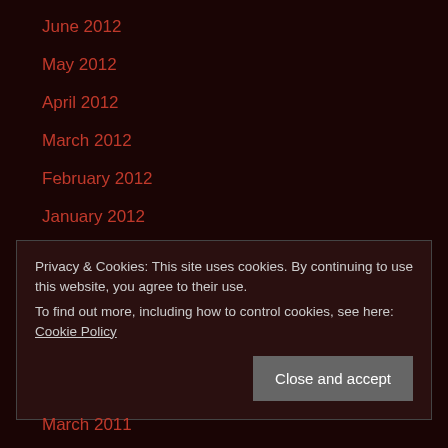June 2012
May 2012
April 2012
March 2012
February 2012
January 2012
December 2011
November 2011
September 2011
August 2011
Privacy & Cookies: This site uses cookies. By continuing to use this website, you agree to their use.
To find out more, including how to control cookies, see here: Cookie Policy
March 2011